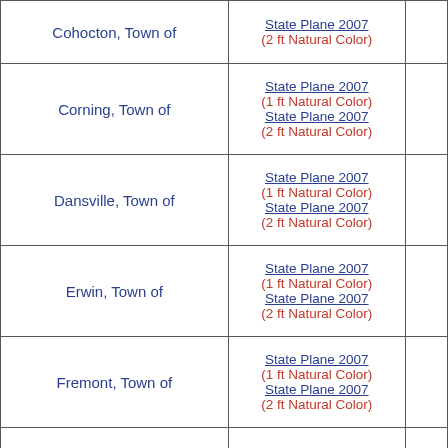| Municipality | Projection / Resolution |  |
| --- | --- | --- |
| Cohocton, Town of | State Plane 2007
(2 ft Natural Color) |  |
| Corning, Town of | State Plane 2007
(1 ft Natural Color)
State Plane 2007
(2 ft Natural Color) |  |
| Dansville, Town of | State Plane 2007
(1 ft Natural Color)
State Plane 2007
(2 ft Natural Color) |  |
| Erwin, Town of | State Plane 2007
(1 ft Natural Color)
State Plane 2007
(2 ft Natural Color) |  |
| Fremont, Town of | State Plane 2007
(1 ft Natural Color)
State Plane 2007
(2 ft Natural Color) |  |
| Greenwood, Town of | State Plane 2007
(2 ft Natural Color) |  |
| Hartsville, Town of | State Plane 2007
(2 ft Natural Color) |  |